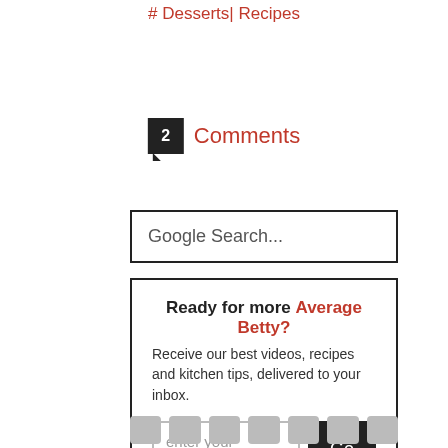# Desserts | Recipes
2 Comments
Google Search...
Ready for more Average Betty? Receive our best videos, recipes and kitchen tips, delivered to your inbox.
enter your email...
Go